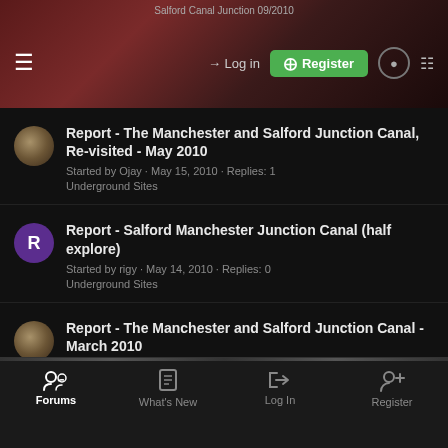Salford Canal Junction 09/2010
Report - The Manchester and Salford Junction Canal, Re-visited - May 2010
Started by Ojay · May 15, 2010 · Replies: 1
Underground Sites
Report - Salford Manchester Junction Canal (half explore)
Started by rigy · May 14, 2010 · Replies: 0
Underground Sites
Report - The Manchester and Salford Junction Canal - March 2010
Started by Ojay · Mar 28, 2010 · Replies: 0
Underground Sites
Forums | What's New | Log In | Register